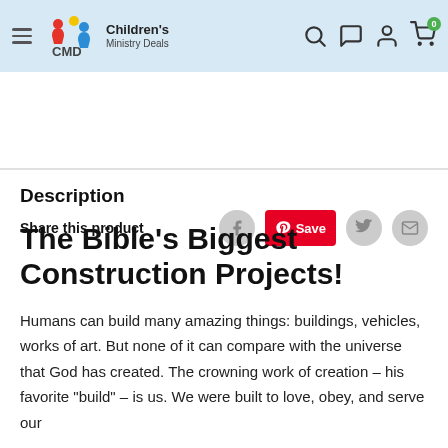Children's Ministry Deals — navigation header with logo and icons
Share this product
Description
The Bible's Biggest Construction Projects!
Humans can build many amazing things: buildings, vehicles, works of art. But none of it can compare with the universe that God has created. The crowning work of creation – his favorite "build" – is us. We were built to love, obey, and serve our